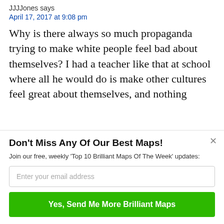JJJJones says
April 17, 2017 at 9:08 pm
Why is there always so much propaganda trying to make white people feel bad about themselves? I had a teacher like that at school where all he would do is make other cultures feel great about themselves, and nothing about the European culture I was living in
Don't Miss Any Of Our Best Maps!
Join our free, weekly 'Top 10 Brilliant Maps Of The Week' updates:
Enter your email address
Yes, Send Me More Brilliant Maps